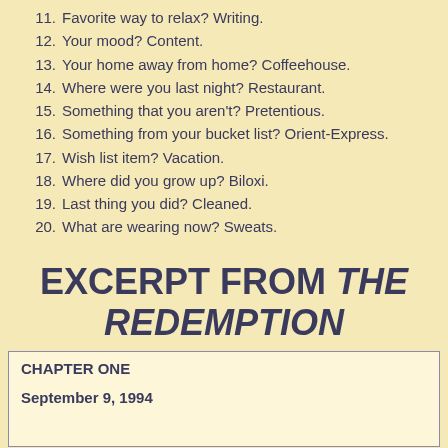11.  Favorite way to relax? Writing.
12.  Your mood? Content.
13.  Your home away from home? Coffeehouse.
14.  Where were you last night? Restaurant.
15.  Something that you aren't? Pretentious.
16.  Something from your bucket list? Orient-Express.
17.  Wish list item? Vacation.
18.  Where did you grow up? Biloxi.
19.  Last thing you did? Cleaned.
20.  What are wearing now? Sweats.
EXCERPT FROM THE REDEMPTION
CHAPTER ONE
September 9, 1994